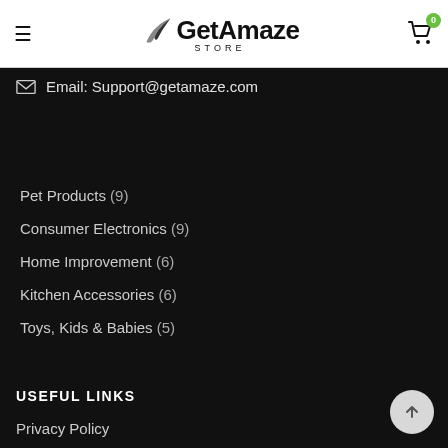GetAmaze STORE
Email: Support@getamaze.com
Pet Products (9)
Consumer Electronics (9)
Home Improvement (6)
Kitchen Accessories (6)
Toys, Kids & Babies (5)
USEFUL LINKS
Privacy Policy